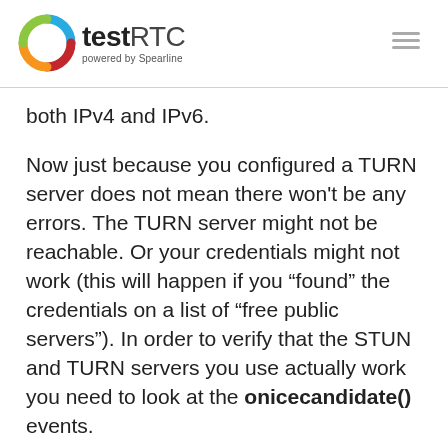testRTC powered by Spearline
both IPv4 and IPv6.
Now just because you configured a TURN server does not mean there won't be any errors. The TURN server might not be reachable. Or your credentials might not work (this will happen if you “found” the credentials on a list of “free public servers”). In order to verify that the STUN and TURN servers you use actually work you need to look at the onicecandidate() events.